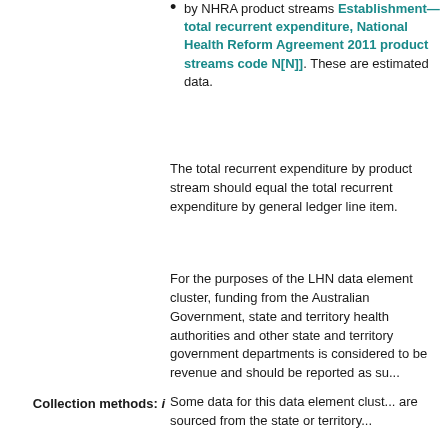by NHRA product streams Establishment—total recurrent expenditure, National Health Reform Agreement 2011 product streams code N[N]]. These are estimated data.
The total recurrent expenditure by product stream should equal the total recurrent expenditure by general ledger line item.
For the purposes of the LHN data element cluster, funding from the Australian Government, state and territory health authorities and other state and territory government departments is considered to be revenue and should be reported as su...
Collection methods: i
Some data for this data element clust... are sourced from the state or territory...